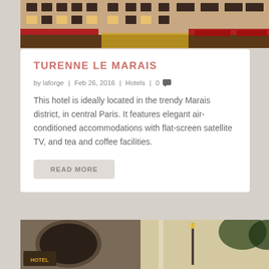[Figure (photo): Exterior photo of Turenne Le Marais hotel in Paris at night, showing illuminated facade with red awnings]
TURENNE LE MARAIS
by laforge | Feb 26, 2016 | Hotels | 0
This hotel is ideally located in the trendy Marais district, in central Paris. It features elegant air-conditioned accommodations with flat-screen satellite TV, and tea and coffee facilities.
READ MORE
[Figure (photo): Exterior photo of another Paris hotel, showing arched stone facade with hotel signage and trees]